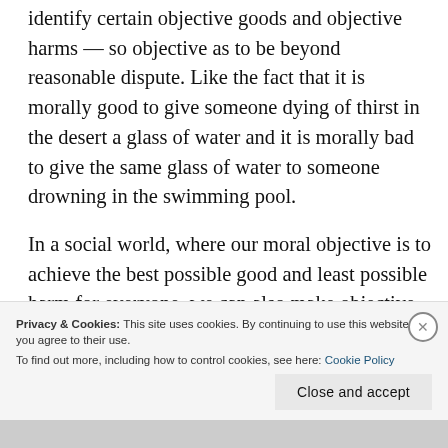identify certain objective goods and objective harms — so objective as to be beyond reasonable dispute. Like the fact that it is morally good to give someone dying of thirst in the desert a glass of water and it is morally bad to give the same glass of water to someone drowning in the swimming pool.
In a social world, where our moral objective is to achieve the best possible good and least possible harm for everyone, we can also make objective assertions such as, “It is morally wrong that some people starve while everyone else has
Privacy & Cookies: This site uses cookies. By continuing to use this website, you agree to their use.
To find out more, including how to control cookies, see here: Cookie Policy
Close and accept